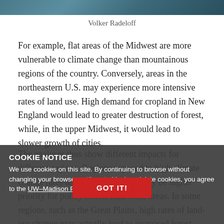[Figure (photo): Partial photo of Volker Radeloff at top of page, cropped]
Volker Radeloff
For example, flat areas of the Midwest are more vulnerable to climate change than mountainous regions of the country. Conversely, areas in the northeastern U.S. may experience more intensive rates of land use. High demand for cropland in New England would lead to greater destruction of forest, while, in the upper Midwest, it would lead to slower growth of cities.
The analyses thus show different impacts for different regions. Regions exposed to high climate change rates and land-use change may be higher priority for policy efforts than other areas. In some regions, such as the Great Plains, high rates of land-use change may actually lead to increased forest
COOKIE NOTICE
We use cookies on this site. By continuing to browse without changing your browser settings to block or delete cookies, you agree to the UW–Madison Privacy Notice.
GOT IT!